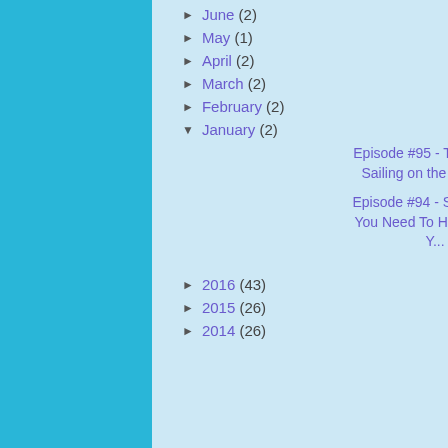► June (2)
► May (1)
► April (2)
► March (2)
► February (2)
▼ January (2)
Episode #95 - Trip Report: Sailing on the Allure o...
Episode #94 - Seven Apps You Need To Have Before Y...
► 2016 (43)
► 2015 (26)
► 2014 (26)
our podcast!
Happy Cruisin
Tommy & Sco
P.S. Click He
Contact The
Twitter: https:
Instagram: ht
YouTube: The
Pinterest: http
Facebook: ww
Email: thecru
Voice Mail: